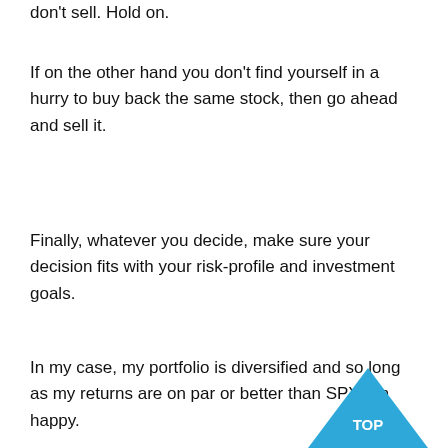don't sell. Hold on.
If on the other hand you don't find yourself in a hurry to buy back the same stock, then go ahead and sell it.
Finally, whatever you decide, make sure your decision fits with your risk-profile and investment goals.
In my case, my portfolio is diversified and so long as my returns are on par or better than SPY, I'm happy.
[Figure (other): Blue upward-pointing triangle with 'TOP' text label inside, positioned at bottom right corner]